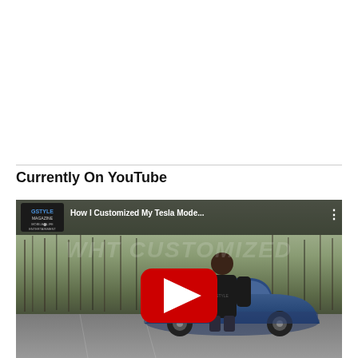Currently On YouTube
[Figure (screenshot): YouTube video thumbnail showing a man standing next to a customized blue Tesla Model in a parking lot, with bare winter trees in the background. The video title reads 'How I Customized My Tesla Mode...' with the GStyle Magazine logo in the top-left corner and a YouTube play button overlay.]